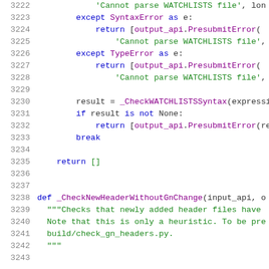[Figure (screenshot): Python source code lines 3222-3243 showing exception handling blocks and a function definition _CheckNewHeaderWithoutGnChange]